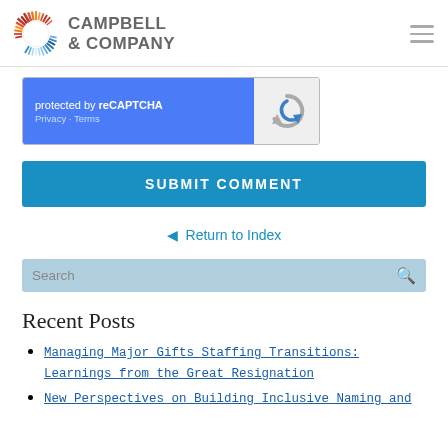Campbell & Company
[Figure (logo): Campbell & Company logo with circular sunburst icon and company name]
[Figure (screenshot): reCAPTCHA widget: blue left panel with 'protected by reCAPTCHA' text, Privacy and Terms links; gray right panel with reCAPTCHA spinner icon]
SUBMIT COMMENT
Return to Index
Search
Recent Posts
Managing Major Gifts Staffing Transitions: Learnings from the Great Resignation
New Perspectives on Building Inclusive Naming and